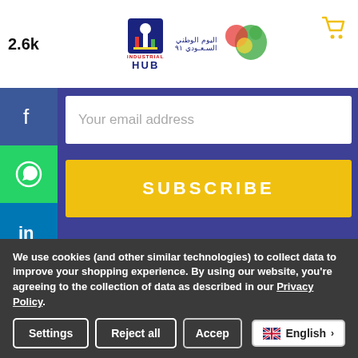2.6k Industrial HUB — National Day 91 logo — Cart icon
[Figure (screenshot): Facebook social share button sidebar (Facebook, WhatsApp, LinkedIn, Instagram, Twitter, More)]
Your email address
SUBSCRIBE
[Figure (logo): Industrial HUB and Saudi National Day 91 logos on white strip]
We use cookies (and other similar technologies) to collect data to improve your shopping experience. By using our website, you're agreeing to the collection of data as described in our Privacy Policy.
Settings  Reject all  Accept  English >